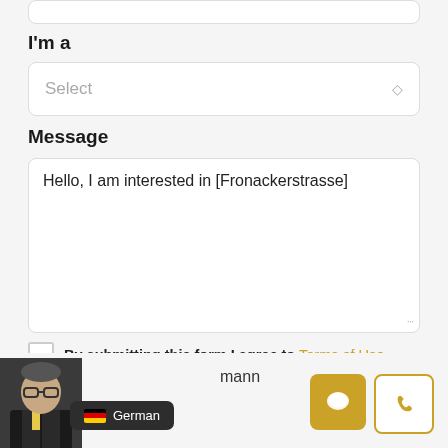I'm a
[Figure (screenshot): Select dropdown input box]
Message
Hello, I am interested in [Fronackerstrasse]
By submitting this form I agree to Terms of Use
[Figure (screenshot): Submit button (partially visible, gold/yellow background)]
[Figure (screenshot): Bottom bar with agent photo, German language badge showing 'mann', and chat/phone action buttons]